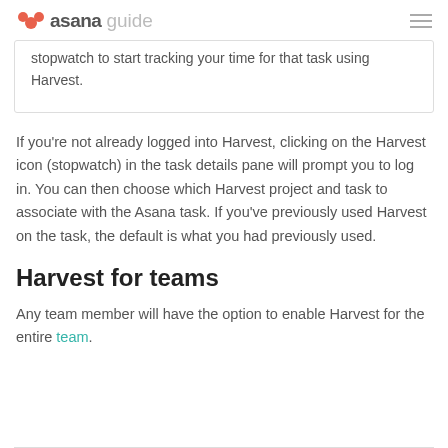asana guide
stopwatch to start tracking your time for that task using Harvest.
If you're not already logged into Harvest, clicking on the Harvest icon (stopwatch) in the task details pane will prompt you to log in. You can then choose which Harvest project and task to associate with the Asana task. If you've previously used Harvest on the task, the default is what you had previously used.
Harvest for teams
Any team member will have the option to enable Harvest for the entire team.